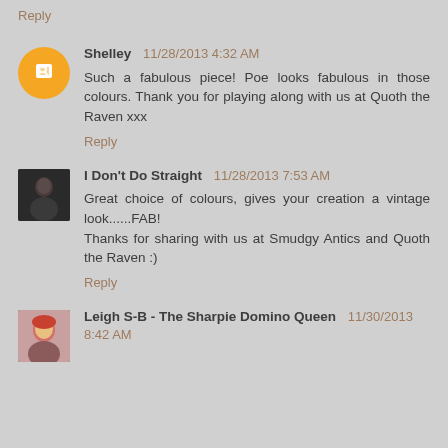Reply
Shelley  11/28/2013 4:32 AM
Such a fabulous piece! Poe looks fabulous in those colours. Thank you for playing along with us at Quoth the Raven xxx
Reply
I Don't Do Straight  11/28/2013 7:53 AM
Great choice of colours, gives your creation a vintage look......FAB!
Thanks for sharing with us at Smudgy Antics and Quoth the Raven :)
Reply
Leigh S-B - The Sharpie Domino Queen  11/30/2013 8:42 AM